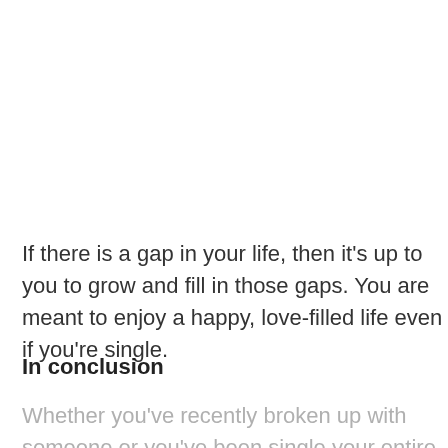If there is a gap in your life, then it's up to you to grow and fill in those gaps. You are meant to enjoy a happy, love-filled life even if you're single.
In conclusion
Whether you've recently broken up with someone or you've been single your entire adult life, don't fret.